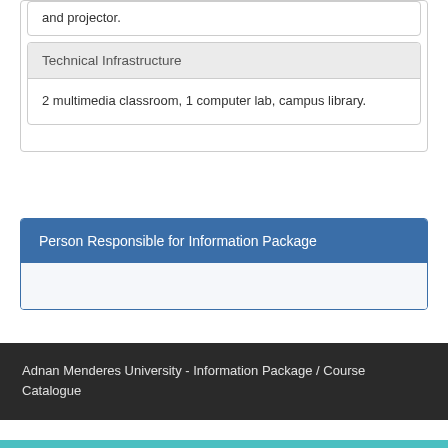and projector.
Technical Infrastructure
2 multimedia classroom, 1 computer lab, campus library.
Person Responsible for Information Package
Adnan Menderes University - Information Package / Course Catalogue